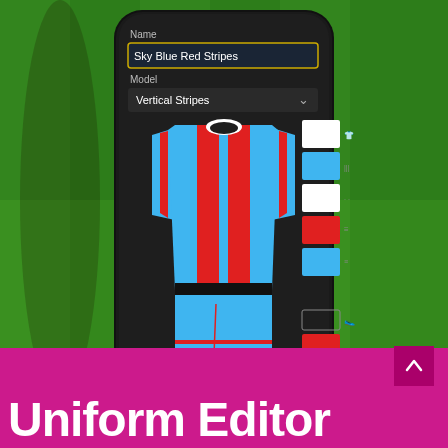[Figure (screenshot): Screenshot of a mobile app called Uniform Editor showing a soccer/football jersey with sky blue and red vertical stripes design on a dark phone interface, with a model selector showing 'Vertical Stripes' and a name field showing 'Sky Blue Red Stripes'. Color swatches are visible on the right side of the screen. The phone is displayed on a green grass soccer field background.]
Uniform Editor